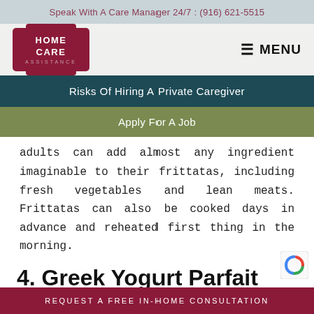Speak With A Care Manager 24/7 : (916) 621-5515
[Figure (logo): Home Care Assistance logo — dark red/maroon shield shape with 'HOME CARE ASSISTANCE' text]
MENU
Risks Of Hiring A Private Caregiver
Apply For A Job
adults can add almost any ingredient imaginable to their frittatas, including fresh vegetables and lean meats. Frittatas can also be cooked days in advance and reheated first thing in the morning.
4. Greek Yogurt Parfait
REQUEST A FREE IN-HOME CONSULTATION